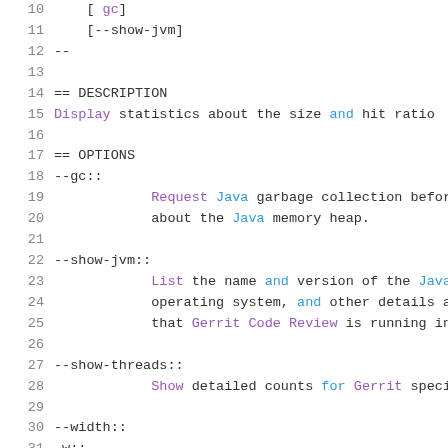Code listing lines 10-31 showing command documentation
10: [ gc]
11: [--show-jvm]
12: --
13: (blank)
14: == DESCRIPTION
15: Display statistics about the size and hit ratio
16: (blank)
17: == OPTIONS
18: --gc::
19: Request Java garbage collection before e
20: about the Java memory heap.
21: (blank)
22: --show-jvm::
23: List the name and version of the Java v
24: operating system, and other details abo
25: that Gerrit Code Review is running in.
26: (blank)
27: --show-threads::
28: Show detailed counts for Gerrit specifi
29: (blank)
30: --width::
31: -w::